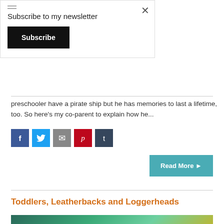Subscribe to my newsletter
Subscribe
preschooler have a pirate ship but he has memories to last a lifetime, too. So here's my co-parent to explain how he...
[Figure (other): Social media share icons: Facebook (blue), Twitter (light blue), Email (grey), Pinterest (red), Tumblr (dark blue)]
Read More ▶
Toddlers, Leatherbacks and Loggerheads
[Figure (photo): Partial thumbnail photo, appears to show an underwater or ocean scene in blue/green tones]